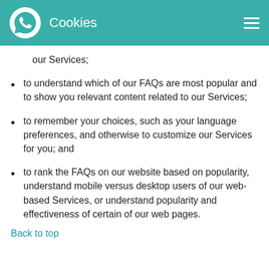Cookies
our Services;
to understand which of our FAQs are most popular and to show you relevant content related to our Services;
to remember your choices, such as your language preferences, and otherwise to customize our Services for you; and
to rank the FAQs on our website based on popularity, understand mobile versus desktop users of our web-based Services, or understand popularity and effectiveness of certain of our web pages.
Back to top